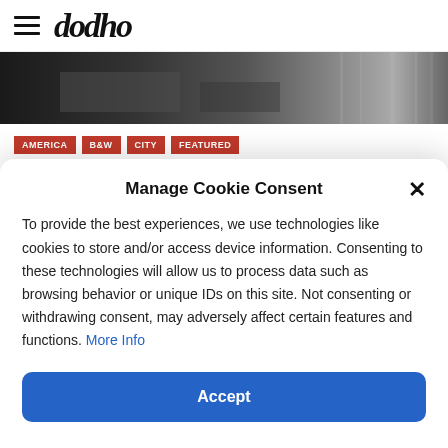dodho
[Figure (photo): Black and white street photography image, showing urban scene with vehicles and buildings]
AMERICA
B&W
CITY
FEATURED
Swee Oh ; Street Photography
Swee Oh is an internationally acclaimed fine art
Manage Cookie Consent
To provide the best experiences, we use technologies like cookies to store and/or access device information. Consenting to these technologies will allow us to process data such as browsing behavior or unique IDs on this site. Not consenting or withdrawing consent, may adversely affect certain features and functions. More Info
Accept